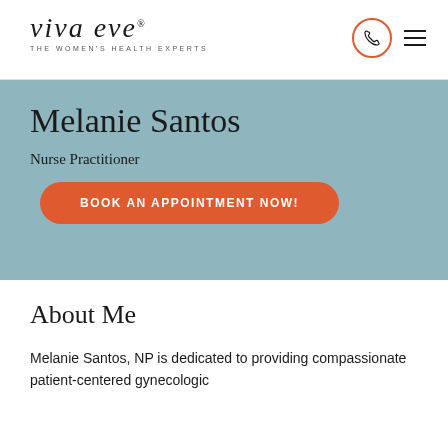[Figure (logo): Viva Eve logo with tagline 'THE WOMEN'S HEALTH EXPERTS' and phone/menu icons in header]
Melanie Santos
Nurse Practitioner
BOOK AN APPOINTMENT NOW!
About Me
Melanie Santos, NP is dedicated to providing compassionate patient-centered gynecologic